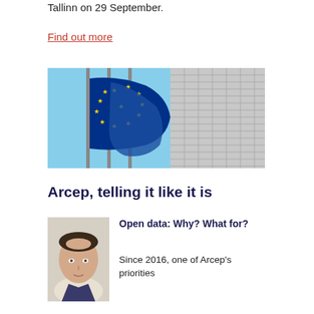Tallinn on 29 September.
Find out more
[Figure (photo): EU flags flying in front of a modern building with a glass/metal facade]
Arcep, telling it like it is
[Figure (photo): Portrait photo of a man with short dark hair]
Open data: Why? What for?
Since 2016, one of Arcep's priorities